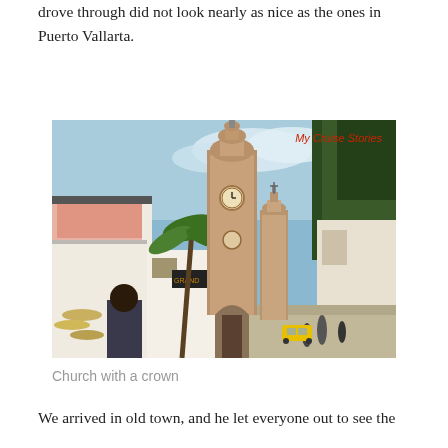drove through did not look nearly as nice as the ones in Puerto Vallarta.
[Figure (photo): Street view of Puerto Vallarta old town with a large ornate church tower (the Church of Our Lady of Guadalupe with its crown) visible in the background, flanked by white buildings with shop fronts and palm trees on either side, yellow taxi visible in the street, blue sky above. Watermark reads 'My Cruise Stories'.]
Church with a crown
We arrived in old town, and he let everyone out to see the